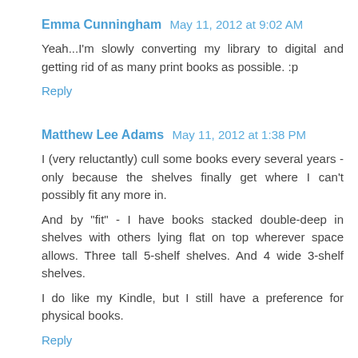Emma Cunningham  May 11, 2012 at 9:02 AM
Yeah...I'm slowly converting my library to digital and getting rid of as many print books as possible. :p
Reply
Matthew Lee Adams  May 11, 2012 at 1:38 PM
I (very reluctantly) cull some books every several years - only because the shelves finally get where I can't possibly fit any more in.
And by "fit" - I have books stacked double-deep in shelves with others lying flat on top wherever space allows. Three tall 5-shelf shelves. And 4 wide 3-shelf shelves.
I do like my Kindle, but I still have a preference for physical books.
Reply